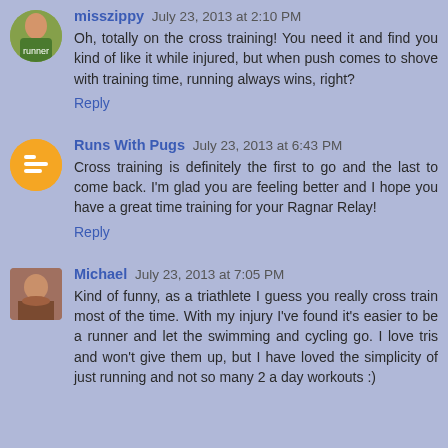misszippy July 23, 2013 at 2:10 PM — Oh, totally on the cross training! You need it and find you kind of like it while injured, but when push comes to shove with training time, running always wins, right? Reply
Runs With Pugs July 23, 2013 at 6:43 PM — Cross training is definitely the first to go and the last to come back. I'm glad you are feeling better and I hope you have a great time training for your Ragnar Relay! Reply
Michael July 23, 2013 at 7:05 PM — Kind of funny, as a triathlete I guess you really cross train most of the time. With my injury I've found it's easier to be a runner and let the swimming and cycling go. I love tris and won't give them up, but I have loved the simplicity of just running and not so many 2 a day workouts :)